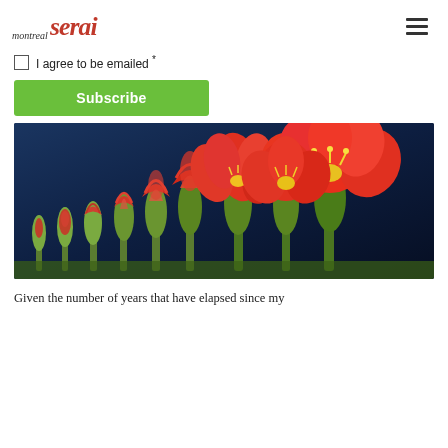montreal serai
I agree to be emailed *
Subscribe
[Figure (photo): Time-lapse sequence of red amaryllis flowers blooming from green buds to fully open red blossoms, arranged left to right against a dark blue background.]
Given the number of years that have elapsed since my